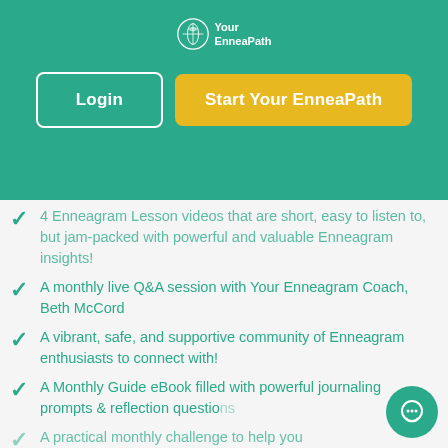[Figure (logo): Your EnneaPath logo — circular emblem with leaf/compass icon and text 'Your EnneaPath']
Login
Start Your EnneaPath
4 Enneagram Lesson videos that are short, easy to listen to, but jam-packed with powerful and valuable Enneagram insights!
A monthly live Q&A session with Your Enneagram Coach, Beth McCord
A vibrant, safe, and supportive community of Enneagram enthusiasts to connect with!
A Monthly Guide eBook filled with powerful journaling prompts & reflection questions
A practical monthly challenge to help you…